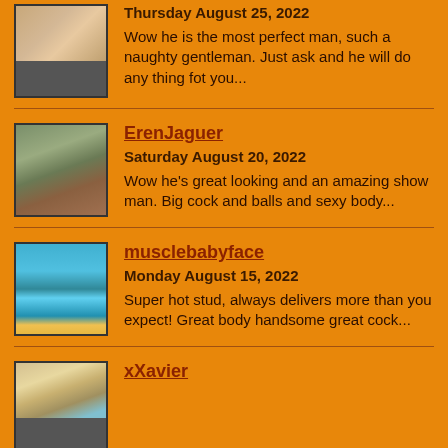[Figure (photo): Thumbnail photo of a person, partial view, brownish tones]
Thursday August 25, 2022
Wow he is the most perfect man, such a naughty gentleman. Just ask and he will do any thing fot you...
[Figure (photo): Thumbnail photo of ErenJaguer, muscular man outdoors near stone wall]
ErenJaguer
Saturday August 20, 2022
Wow he's great looking and an amazing show man. Big cock and balls and sexy body...
[Figure (photo): Thumbnail photo of musclebabyface, muscular man by a pool in blue swimwear]
musclebabyface
Monday August 15, 2022
Super hot stud, always delivers more than you expect! Great body handsome great cock...
[Figure (photo): Thumbnail photo of xXavier, partial view outdoors]
xXavier